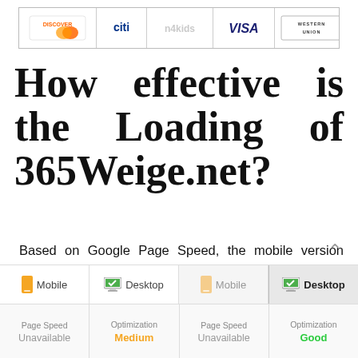[Figure (logo): Banner with payment logos: Discover, Citi, n4kids.org, Visa, Western Union]
How effective is the Loading of 365Weige.net?
Based on Google Page Speed, the mobile version gains a medium indicator 60 which suggests the site speed is satisfactory. Google Page Speed estimates that the desktop version on a high level giving a positive indicator 92.
[Figure (screenshot): Tabs showing Mobile and Desktop page speed results. Mobile: Page Speed Unavailable, Optimization Medium. Desktop: Page Speed Unavailable, Optimization Good.]